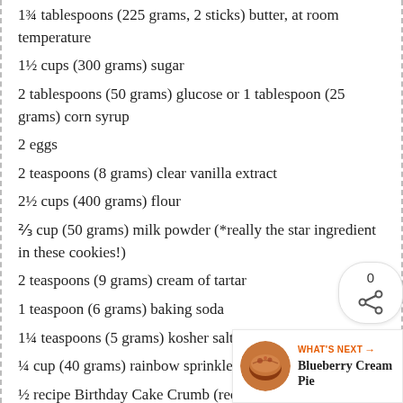1¾ tablespoons (225 grams, 2 sticks) butter, at room temperature
1½ cups (300 grams) sugar
2 tablespoons (50 grams) glucose or 1 tablespoon (25 grams) corn syrup
2 eggs
2 teaspoons (8 grams) clear vanilla extract
2½ cups (400 grams) flour
⅔ cup (50 grams) milk powder (*really the star ingredient in these cookies!)
2 teaspoons (9 grams) cream of tartar
1 teaspoon (6 grams) baking soda
1¼ teaspoons (5 grams) kosher salt
¼ cup (40 grams) rainbow sprinkles
½ recipe Birthday Cake Crumb (recipe follows - I halved the recipe, but by all means make the whole thing - wouldn't it be great in some ice cream?)
[Figure (other): Share widget showing count 0 and a share icon]
[Figure (other): What's Next promo card for Blueberry Cream Pie with circular pie photo]